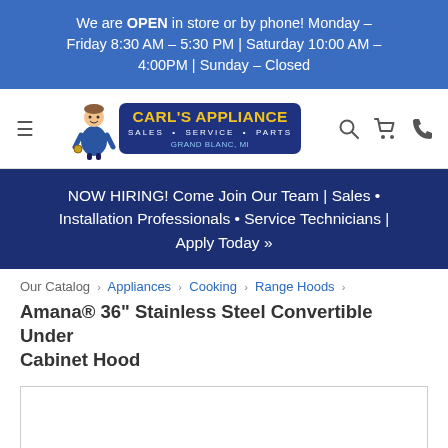We are OPEN in store or by phone! Monday – Friday 8:30 AM – 5:30 PM | Saturday 10:00 AM – 4:00PM | Sunday – Closed
[Figure (logo): Carl's Appliance logo with mascot figure. Text: CARL'S APPLIANCE, SALES • SERVICE • PARTS, GRAND BLANC, MI. Navigation icons: hamburger menu, search, cart, phone.]
NOW HIRING! Come Join Our Team | Sales • Installation Professionals • Service Technicians | Apply Today »
Our Catalog › Appliances › Cooking › Range Hoods ›
Amana® 36" Stainless Steel Convertible Under Cabinet Hood